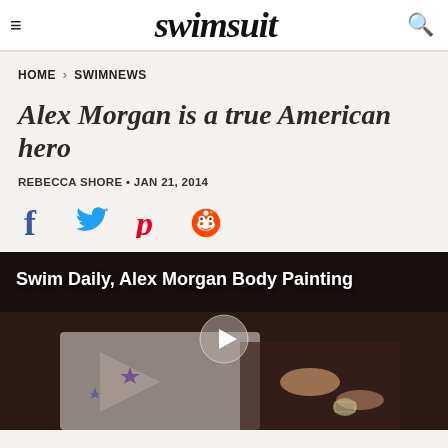swimsuit
HOME › SWIMNEWS
Alex Morgan is a true American hero
REBECCA SHORE • JAN 21, 2014
[Figure (other): Social sharing icons: Facebook, Twitter, Pinterest, Reddit]
[Figure (screenshot): Video thumbnail showing a body painting scene with overlaid text: Swim Daily, Alex Morgan Body Painting. A play button is visible in the center.]